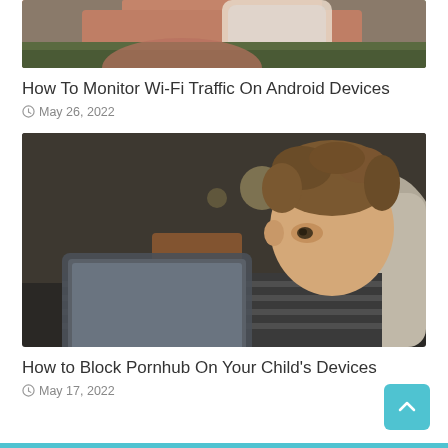[Figure (photo): Cropped photo showing a hand holding a white smartphone, with green background below.]
How To Monitor Wi-Fi Traffic On Android Devices
May 26, 2022
[Figure (photo): A young boy with tousled hair lying on a sofa, looking at a tablet device. Background shows bokeh lights.]
How to Block Pornhub On Your Child's Devices
May 17, 2022